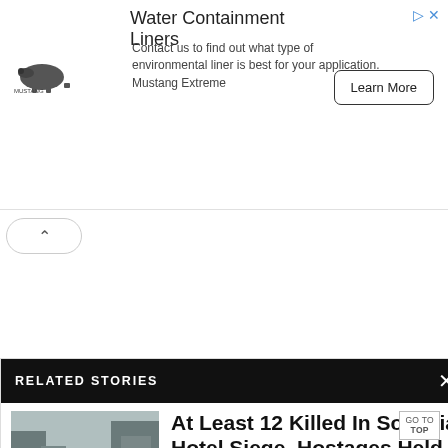[Figure (infographic): Advertisement banner for Water Containment Liners by Mustang Extreme with logo, text description, and Learn More button]
Water Containment Liners
Contact us to find out what type of environmental liner is best for your application. Mustang Extreme
RELATED STORIES
[Figure (photo): News photo showing military/security vehicle on a street in Somalia]
At Least 12 Killed In Somalia Hotel Siege, Hostages Held
...
Customs Enforcement and Removal
GO TO TOP